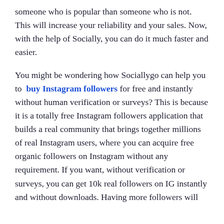someone who is popular than someone who is not. This will increase your reliability and your sales. Now, with the help of Socially, you can do it much faster and easier.
You might be wondering how Sociallygo can help you to buy Instagram followers for free and instantly without human verification or surveys? This is because it is a totally free Instagram followers application that builds a real community that brings together millions of real Instagram users, where you can acquire free organic followers on Instagram without any requirement. If you want, without verification or surveys, you can get 10k real followers on IG instantly and without downloads. Having more followers will